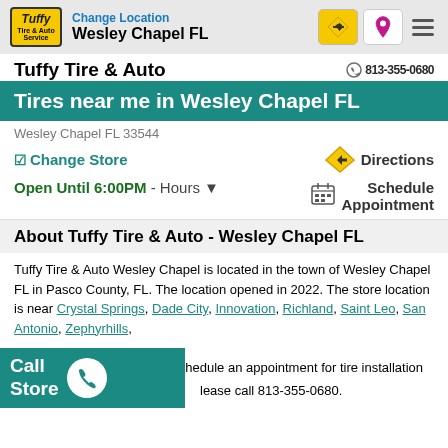Change Location Wesley Chapel FL
Tuffy Tire & Auto
Tires near me in Wesley Chapel FL
Wesley Chapel FL 33544
Change Store   Directions
Open Until 6:00PM - Hours  Schedule Appointment
About Tuffy Tire & Auto - Wesley Chapel FL
Tuffy Tire & Auto Wesley Chapel is located in the town of Wesley Chapel FL in Pasco County, FL. The location opened in 2022. The store location is near Crystal Springs, Dade City, Innovation, Richland, Saint Leo, San Antonio, Zephyrhills,
For a FREE price quote, to schedule an appointment for tire installation please call 813-355-0680.
Call Store